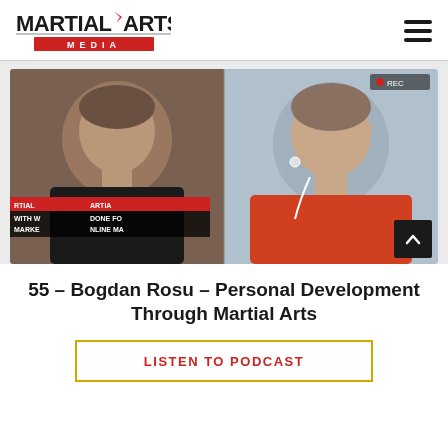[Figure (logo): Martial Arts Media logo with red accent bar and MEDIA text]
[Figure (photo): Two men in a split-screen video call — left man in dark shirt in front of Martial Arts Media backdrop, right man in red jacket with earphones against grey background]
55 – Bogdan Rosu – Personal Development Through Martial Arts
LISTEN TO PODCAST